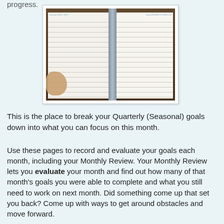progress.
[Figure (photo): Open planner/journal notebook with lined pages, held open by a hand, placed on a wooden surface. The left and right pages both show faint printed header text and horizontal lines.]
This is the place to break your Quarterly (Seasonal) goals down into what you can focus on this month.
Use these pages to record and evaluate your goals each month, including your Monthly Review. Your Monthly Review lets you evaluate your month and find out how many of that month's goals you were able to complete and what you still need to work on next month. Did something come up that set you back? Come up with ways to get around obstacles and move forward.